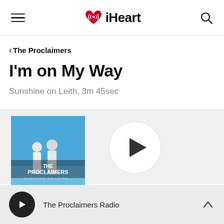iHeart
< The Proclaimers
I'm on My Way
Sunshine on Leith, 3m 45sec
[Figure (photo): Album art for The Proclaimers - Sunshine on Leith showing two figures from behind against a blue sky]
[Figure (illustration): Large circular play button]
The Proclaimers Radio